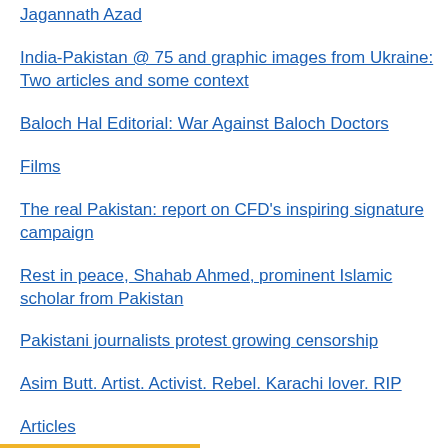Jagannath Azad
India-Pakistan @ 75 and graphic images from Ukraine: Two articles and some context
Baloch Hal Editorial: War Against Baloch Doctors
Films
The real Pakistan: report on CFD's inspiring signature campaign
Rest in peace, Shahab Ahmed, prominent Islamic scholar from Pakistan
Pakistani journalists protest growing censorship
Asim Butt. Artist. Activist. Rebel. Karachi lover. RIP
Articles